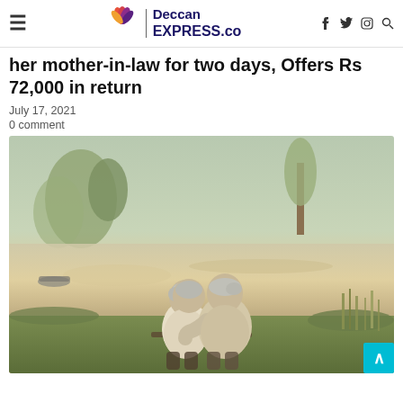Deccan EXPRESS.co
her mother-in-law for two days, Offers Rs 72,000 in return
July 17, 2021
0 comment
[Figure (photo): Elderly couple sitting together by a lake at dusk, viewed from behind, man with arm around woman]